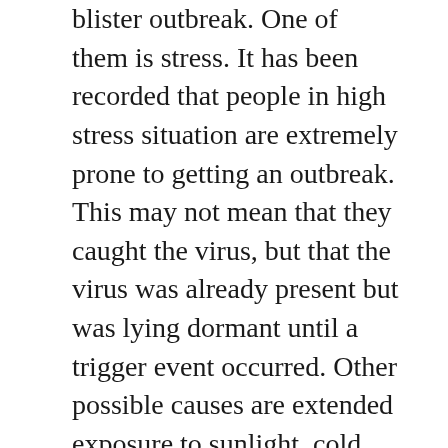blister outbreak. One of them is stress. It has been recorded that people in high stress situation are extremely prone to getting an outbreak. This may not mean that they caught the virus, but that the virus was already present but was lying dormant until a trigger event occurred. Other possible causes are extended exposure to sunlight, cold and even a regular fever.
Antiviral is the stuff that heals the fever blister. If your fever blister gets bad enough, you might want to go to the doctor and see about meeting with a dermatologist. Dermatologists work with the skin and treating fever blisters is on their job description. The point of this is to get an antiviral medication prescription which has been approved by the FDA. Doctors can heal you better than you could yourself, so if you have the time and the money, think about seeing one after trying the petroleum jelly and waiting a couple of weeks route.